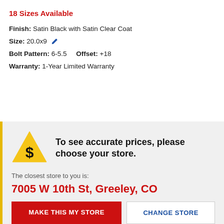18 Sizes Available
Finish: Satin Black with Satin Clear Coat
Size: 20.0x9
Bolt Pattern: 6-5.5   Offset: +18
Warranty: 1-Year Limited Warranty
To see accurate prices, please choose your store.
The closest store to you is:
7005 W 10th St, Greeley, CO
MAKE THIS MY STORE
CHANGE STORE